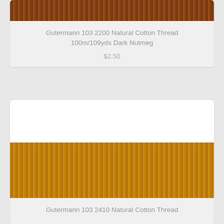[Figure (photo): Dark brown/nutmeg colored thread spool texture shown as horizontal stripe at top of first product card]
Gutermann 103 2200 Natural Cotton Thread 100m/109yds Dark Nutmeg
$2.50
[Figure (photo): Medium golden/honey colored thread spool texture shown as horizontal stripe in second product card]
Gutermann 103 2410 Natural Cotton Thread